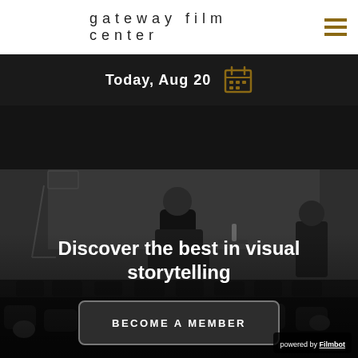gateway film center
Today, Aug 20
[Figure (photo): Black and white photo of a film center auditorium. A person sits in a chair on stage in conversation, with rows of audience seating visible in the foreground.]
Discover the best in visual storytelling
BECOME A MEMBER
powered by Filmbot